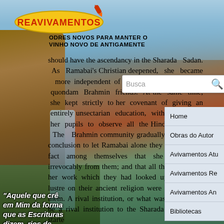[Figure (logo): Reavivamentos logo - yellow banana/football shaped logo with red text REAVIVAMENTOS and a rocket]
ODRES NOVOS PARA MANTER O VINHO NOVO DE ANTIGAMENTE
[Figure (screenshot): Search bar with placeholder text 'Busca' and search icon]
should have the ascendancy in the Sharada Sadan. As Ramabai's Christian deepened, she became more independent of even the opinions of her quondam Brahmin friends. At the same time, she kept strictly to her covenant of giving an entirely unsectarian education, with freedom to her pupils to observe all the Hindu customs. The Brahmin community gradually came to the conclusion to let Ramabai alone they accepted the fact among themselves that she had gone irrevocably from them; and that all the benefits of her work which they had looked upon to shed lustre on their ancient religion were quite lost to them. A rival institution, or what was intended to be a rival institution to the Sharada Sadan, was starte
[Figure (screenshot): Navigation menu with items: Home, Obras do Autor, Avivamentos Atu..., Avivamentos Re..., Avivamentos An..., Bibliotecas]
"Aquele que crê em Mim da forma que as Escrituras dizem, rios de água viva fluirão de seu ventre" João 7:38